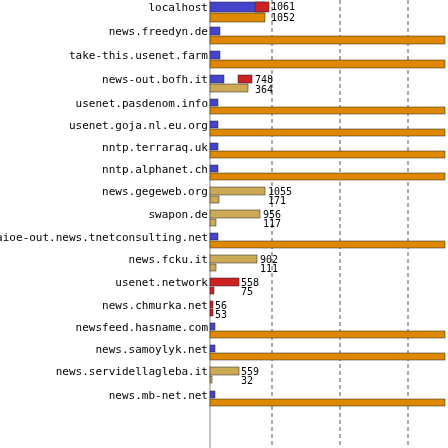[Figure (bar-chart): Horizontal bar chart of news servers]